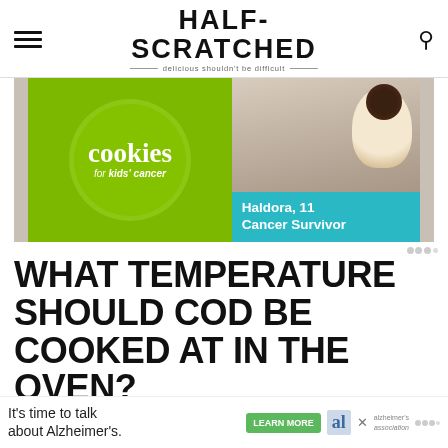HALF-SCRATCHED — delicious shouldn't be difficult
[Figure (photo): Advertisement banner for Cookies for Kids' Cancer showing a green circle logo on the left with text 'cookies for kids' cancer' and a teal bar on the right with text 'Haldora, 11 Cancer Survivor' over a photo of a person holding a cake]
WHAT TEMPERATURE SHOULD COD BE COOKED AT IN THE OVEN?
[Figure (photo): Advertisement banner at the bottom: 'It's time to talk about Alzheimer's.' with a LEARN MORE button and Alzheimer's Association logo]